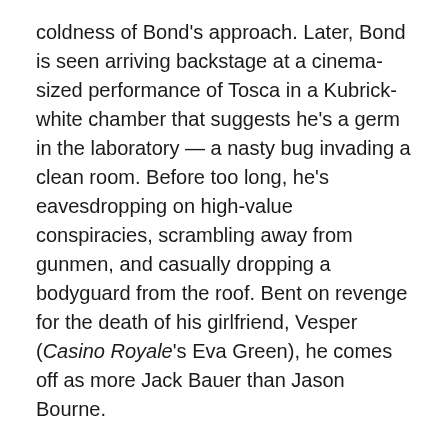coldness of Bond's approach. Later, Bond is seen arriving backstage at a cinema-sized performance of Tosca in a Kubrick-white chamber that suggests he's a germ in the laboratory — a nasty bug invading a clean room. Before too long, he's eavesdropping on high-value conspiracies, scrambling away from gunmen, and casually dropping a bodyguard from the roof. Bent on revenge for the death of his girlfriend, Vesper (Casino Royale's Eva Green), he comes off as more Jack Bauer than Jason Bourne.
Forster and his screenwriters, Bond stalwarts Neil Purvis and Robert Wade plus Paul Haggis, seem to be graduates of the Godfather school of action filmmaking, opting to stage most of the set pieces through cross-cutting, placing one scene next to another in a way that might highlight similarities or contrasts between the images. For example, an underground chase scene early in the film is intercut with footage of a horse race taking